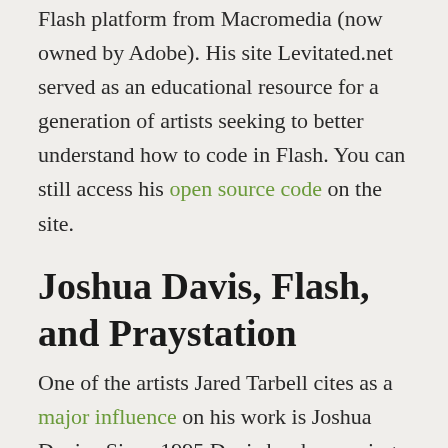Flash platform from Macromedia (now owned by Adobe). His site Levitated.net served as an educational resource for a generation of artists seeking to better understand how to code in Flash. You can still access his open source code on the site.
Joshua Davis, Flash, and Praystation
One of the artists Jared Tarbell cites as a major influence on his work is Joshua Davis.  Since 1995 Davis has been using programming to